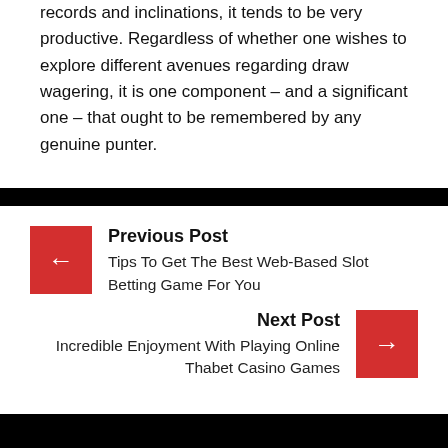records and inclinations, it tends to be very productive. Regardless of whether one wishes to explore different avenues regarding draw wagering, it is one component – and a significant one – that ought to be remembered by any genuine punter.
Previous Post
Tips To Get The Best Web-Based Slot Betting Game For You
Next Post
Incredible Enjoyment With Playing Online Thabet Casino Games